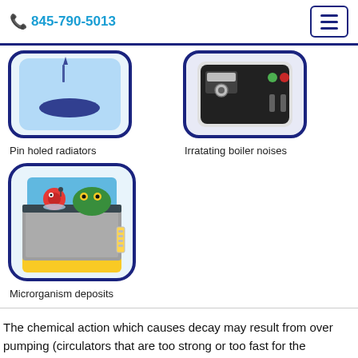845-790-5013
[Figure (illustration): Icon of a pin-holed radiator with blue water and a black oval hole visible inside a rounded rectangle frame with blue border]
Pin holed radiators
[Figure (illustration): Icon of a boiler unit with control panel showing dials and indicator lights, inside a rounded rectangle frame with blue border]
Irratating boiler noises
[Figure (illustration): Icon of a system component with microorganism deposits shown as cartoon red and green creatures in a gray box with yellow base, inside a rounded rectangle frame with blue border]
Microrganism deposits
The chemical action which causes decay may result from over pumping (circulators that are too strong or too fast for the application), abrasion, and...